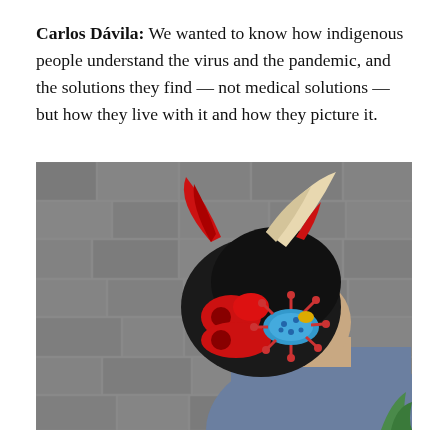Carlos Dávila: We wanted to know how indigenous people understand the virus and the pandemic, and the solutions they find — not medical solutions — but how they live with it and how they picture it.
[Figure (photo): A person wearing an elaborate traditional mask featuring a black furry devil/bull face with red horns and a large cream-colored horn, holding a colorful handcrafted figure representing a coronavirus (blue with red spikes). The person wears a grey short-sleeve shirt and stands against a stone wall background.]